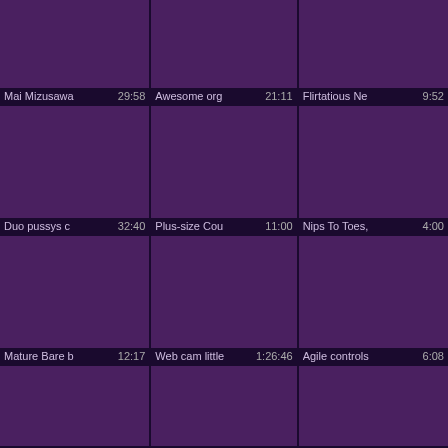[Figure (screenshot): Video thumbnail grid with 3 columns and 4 rows showing purple placeholder thumbnails with video titles and durations]
Mai Mizusawa 29:58
Awesome org 21:11
Flirtatious Ne 9:52
Duo pussys c 32:40
Plus-size Cou 11:00
Nips To Toes, 4:00
Mature Bare b 12:17
Web cam little 1:26:46
Agile controls 6:08